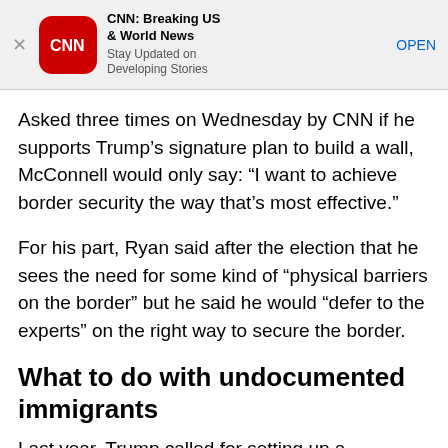[Figure (screenshot): CNN app advertisement banner with red CNN logo icon, title 'CNN: Breaking US & World News', subtitle 'Stay Updated on Developing Stories', and an 'OPEN' link button. An X close button is on the left.]
Asked three times on Wednesday by CNN if he supports Trump’s signature plan to build a wall, McConnell would only say: “I want to achieve border security the way that’s most effective.”
For his part, Ryan said after the election that he sees the need for some kind of “physical barriers on the border” but he said he would “defer to the experts” on the right way to secure the border.
What to do with undocumented immigrants
Last year, Trump called for setting up a deportation